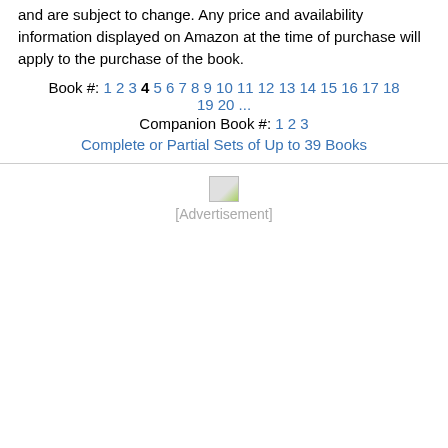and are subject to change. Any price and availability information displayed on Amazon at the time of purchase will apply to the purchase of the book.
Book #: 1 2 3 4 5 6 7 8 9 10 11 12 13 14 15 16 17 18 19 20 ... Companion Book #: 1 2 3 Complete or Partial Sets of Up to 39 Books
[Figure (other): [Advertisement] image placeholder with broken image icon]